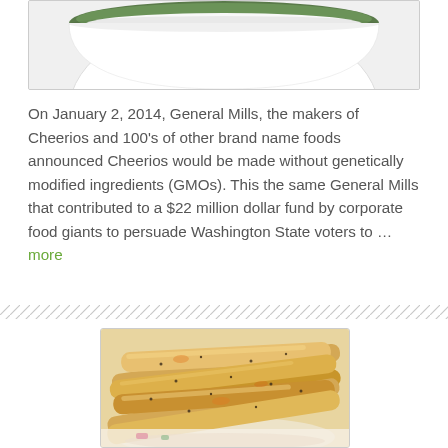[Figure (photo): Partial view of a white bowl with green rim, cropped at top, shown against white background]
On January 2, 2014, General Mills, the makers of Cheerios and 100's of other brand name foods announced Cheerios would be made without genetically modified ingredients (GMOs). This the same General Mills that contributed to a $22 million dollar fund by corporate food giants to persuade Washington State voters to … more
[Figure (photo): Close-up photo of seasoned breadsticks or twisted pastry snacks piled on a decorative plate, golden-brown with black pepper specks]